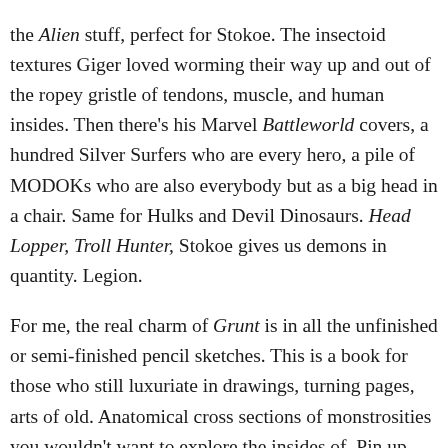the Alien stuff, perfect for Stokoe. The insectoid textures Giger loved worming their way up and out of the ropey gristle of tendons, muscle, and human insides. Then there's his Marvel Battleworld covers, a hundred Silver Surfers who are every hero, a pile of MODOKs who are also everybody but as a big head in a chair. Same for Hulks and Devil Dinosaurs. Head Lopper, Troll Hunter, Stokoe gives us demons in quantity. Legion.
For me, the real charm of Grunt is in all the unfinished or semi-finished pencil sketches. This is a book for those who still luxuriate in drawings, turning pages, arts of old. Anatomical cross sections of monstrosities you wouldn't want to explore the insides of. Pin up girls who wear and wield weapons that come from tropical lizards. Big fat dude butts and alarming orc penis.